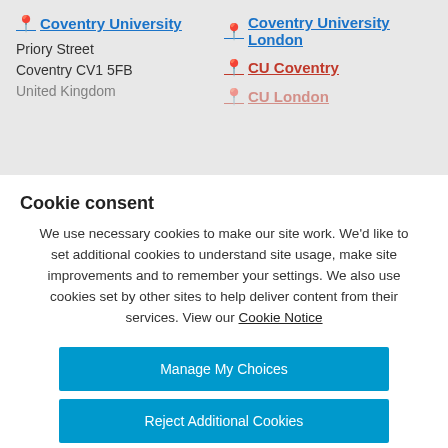[Figure (screenshot): Google Maps-style location banner showing Coventry University address on the left and links to Coventry University London, CU Coventry, and CU London on the right]
Cookie consent
We use necessary cookies to make our site work. We'd like to set additional cookies to understand site usage, make site improvements and to remember your settings. We also use cookies set by other sites to help deliver content from their services. View our Cookie Notice
Manage My Choices
Reject Additional Cookies
Accept Additional Cookies